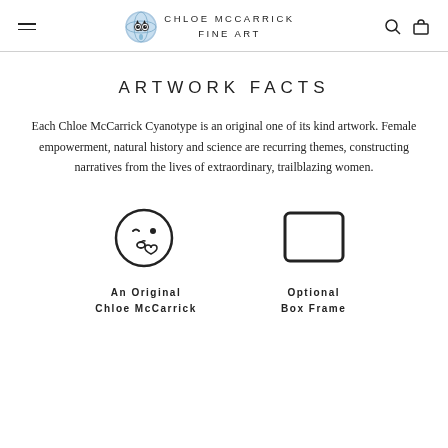CHLOE MCCARRICK FINE ART
ARTWORK FACTS
Each Chloe McCarrick Cyanotype is an original one of its kind artwork. Female empowerment, natural history and science are recurring themes, constructing narratives from the lives of extraordinary, trailblazing women.
[Figure (illustration): Kissing face emoji icon — round face with winking eye and lips puckered blowing a kiss with a small heart]
An Original
Chloe McCarrick
[Figure (illustration): Square frame icon — simple rounded rectangle outline representing a box frame]
Optional
Box Frame